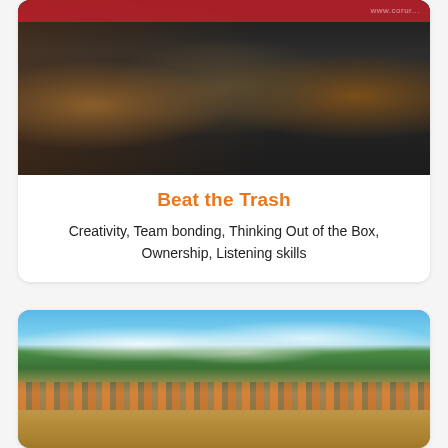[Figure (photo): People playing drums and percussion instruments made from trash/recycled materials on a dark stage with a red banner backdrop]
Beat the Trash
Creativity, Team bonding, Thinking Out of the Box, Ownership, Listening skills
[Figure (photo): Group of people wearing orange life vests building rafts from tires and tubes on a sandy riverbank with lush green trees and blue sky in the background]